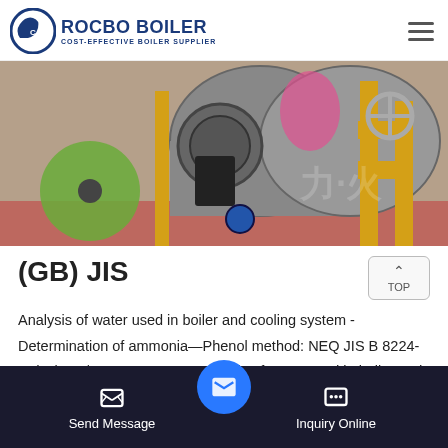ROCBO BOILER — COST-EFFECTIVE BOILER SUPPLIER
[Figure (photo): Industrial boilers and piping at a trade show or factory floor. Yellow gas pipes, a large grey boiler drum, green centrifugal fan, and various flanges and valves visible. Chinese watermark text partially visible.]
(GB) JIS
Analysis of water used in boiler and cooling system - Determination of ammonia—Phenol method: NEQ JIS B 8224-69(77) GB/T 14418-1993; : Analysis of water used in boiler and cooling system-- NEQ...824
Send Message | Inquiry Online